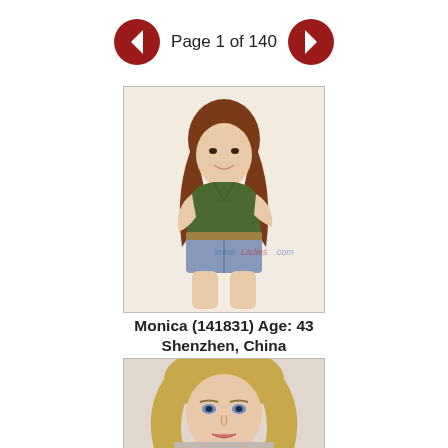Page 1 of 140
[Figure (photo): Profile photo of Monica, a woman with long reddish-brown hair wearing a green sleeveless top and denim shorts, posing against a light background. Watermark reads '9sinaLadies.com'.]
Monica (141831) Age: 43
Shenzhen, China
[Figure (photo): Profile photo of a woman with blonde wavy hair and blue eyes, partial view cropped at bottom of page.]